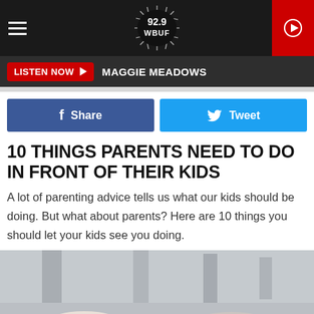92.9 WBUF
LISTEN NOW ▶  MAGGIE MEADOWS
f Share   Tweet
10 THINGS PARENTS NEED TO DO IN FRONT OF THEIR KIDS
A lot of parenting advice tells us what our kids should be doing. But what about parents? Here are 10 things you should let your kids see you doing.
[Figure (photo): Photo of two people holding hands, shown from below, with architectural columns or pillars in the background]